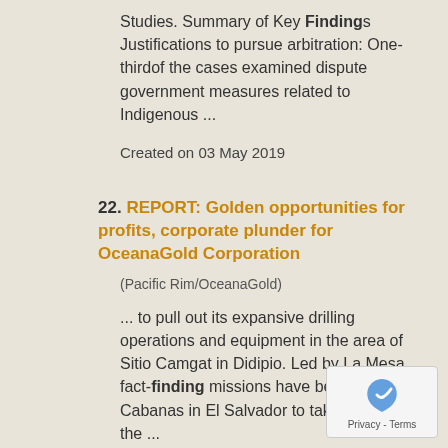Studies. Summary of Key Findings Justifications to pursue arbitration: One-thirdof the cases examined dispute government measures related to Indigenous ...
Created on 03 May 2019
22. REPORT: Golden opportunities for profits, corporate plunder for OceanaGold Corporation
(Pacific Rim/OceanaGold)
... to pull out its expansive drilling operations and equipment in the area of Sitio Camgat in Didipio. Led by La Mesa, fact-finding missions have been held in Cabanas in El Salvador to take stock of the ...
Created on 24 August 2018
23. Solidarity Statement to the People of El